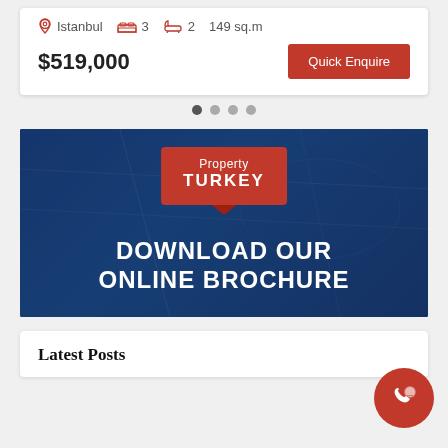Istanbul  3  2  149 sq.m
$519,000
Quick Enquire
[Figure (screenshot): Carousel dot navigation with 4 dots, first one active (dark gray), others light gray]
[Figure (illustration): Property Turkey brochure download banner with dark blue overlay on a photo background showing hands with documents. Contains red Property Turkey logo badge and white bold text: DOWNLOAD OUR ONLINE BROCHURE]
Latest Posts